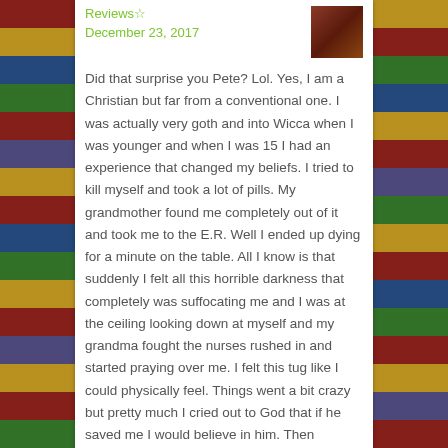Reviews☆
December 23, 2017
Did that surprise you Pete? Lol. Yes, I am a Christian but far from a conventional one. I was actually very goth and into Wicca when I was younger and when I was 15 I had an experience that changed my beliefs. I tried to kill myself and took a lot of pills. My grandmother found me completely out of it and took me to the E.R. Well I ended up dying for a minute on the table. All I know is that suddenly I felt all this horrible darkness that completely was suffocating me and I was at the ceiling looking down at myself and my grandma fought the nurses rushed in and started praying over me. I felt this tug like I could physically feel. Things went a bit crazy but pretty much I cried out to God that if he saved me I would believe in him. Then suddenly I woke up or